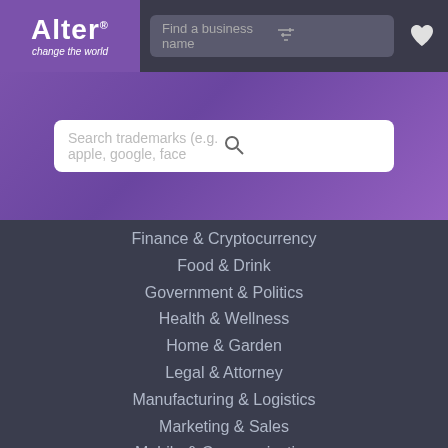[Figure (logo): Alter logo with purple background, text 'Alter' with registered trademark symbol and tagline 'change the world']
Find a business name
Search trademarks (e.g. apple, google, face
Finance & Cryptocurrency
Food & Drink
Government & Politics
Health & Wellness
Home & Garden
Legal & Attorney
Manufacturing & Logistics
Marketing & Sales
Mobile & Communication
News & Media
Non-Profit & Charity
Productivity & Organization
Real Estate & Construction